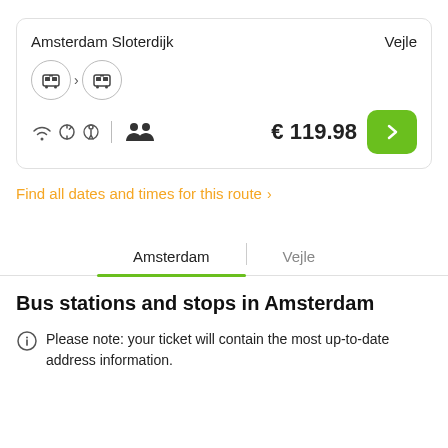Amsterdam Sloterdijk   Vejle
€ 119.98
Find all dates and times for this route >
Amsterdam | Vejle
Bus stations and stops in Amsterdam
Please note: your ticket will contain the most up-to-date address information.